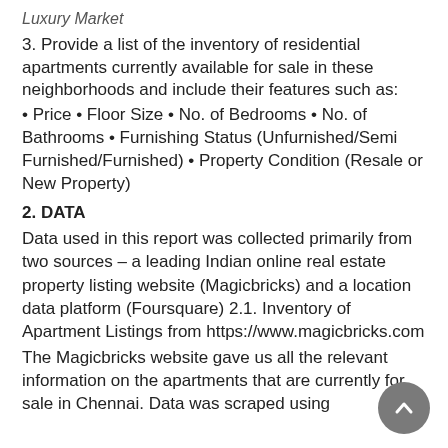Luxury Market
3. Provide a list of the inventory of residential apartments currently available for sale in these neighborhoods and include their features such as:
• Price • Floor Size • No. of Bedrooms • No. of Bathrooms • Furnishing Status (Unfurnished/Semi Furnished/Furnished) • Property Condition (Resale or New Property)
2. DATA
Data used in this report was collected primarily from two sources – a leading Indian online real estate property listing website (Magicbricks) and a location data platform (Foursquare) 2.1. Inventory of Apartment Listings from https://www.magicbricks.com
The Magicbricks website gave us all the relevant information on the apartments that are currently for sale in Chennai. Data was scraped using